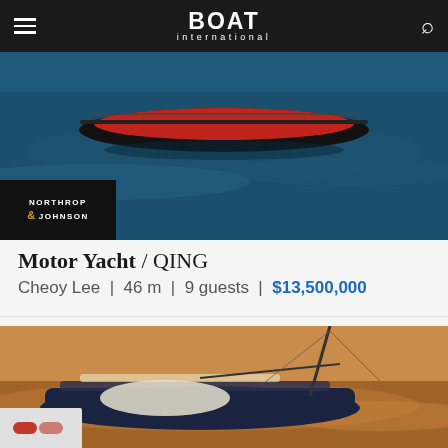BOAT International
[Figure (photo): Aerial photo of a red and dark-hulled motor yacht on deep blue water, with Northrop & Johnson sponsor badge in lower left]
Motor Yacht / QING
Cheoy Lee | 46 m | 9 guests | $13,500,000
[Figure (photo): Aerial/elevated view of a dark-hulled sailing yacht on golden-lit water at sunset, mast and rigging visible]